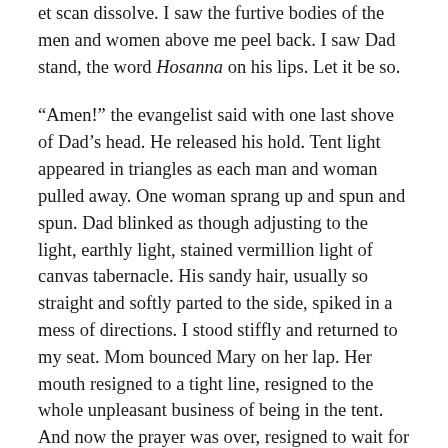et scan dissolve. I saw the furtive bodies of the men and women above me peel back. I saw Dad stand, the word Hosanna on his lips. Let it be so.
“Amen!” the evangelist said with one last shove of Dad’s head. He released his hold. Tent light appeared in triangles as each man and woman pulled away. One woman sprang up and spun and spun. Dad blinked as though adjusting to the light, earthly light, stained vermillion light of canvas tabernacle. His sandy hair, usually so straight and softly parted to the side, spiked in a mess of directions. I stood stiffly and returned to my seat. Mom bounced Mary on her lap. Her mouth resigned to a tight line, resigned to the whole unpleasant business of being in the tent. And now the prayer was over, resigned to wait for the end of service.
“A charlatan,” she said as we packed back into the van. I remember passing an old white man plucking a banjo. I